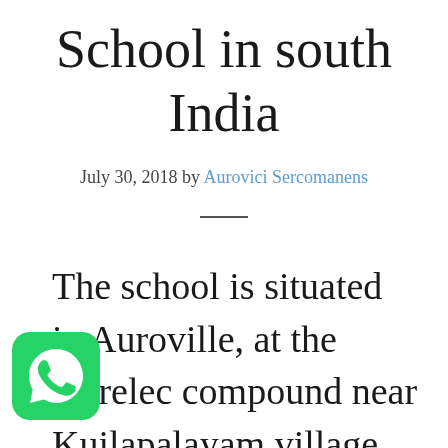School in south India
July 30, 2018 by Aurovici Sercomanens
The school is situated in Auroville, at the Aurelec compound near Kuilapalayam village. We